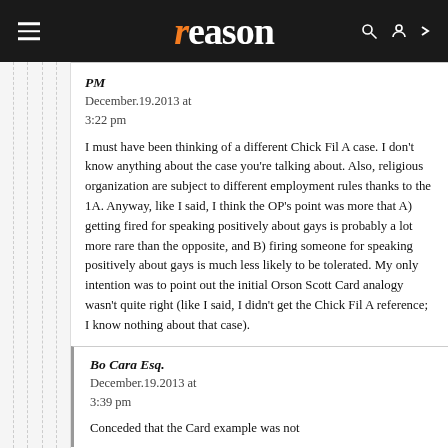reason
PM
December.19.2013 at 3:22 pm

I must have been thinking of a different Chick Fil A case. I don't know anything about the case you're talking about. Also, religious organization are subject to different employment rules thanks to the 1A. Anyway, like I said, I think the OP's point was more that A) getting fired for speaking positively about gays is probably a lot more rare than the opposite, and B) firing someone for speaking positively about gays is much less likely to be tolerated. My only intention was to point out the initial Orson Scott Card analogy wasn't quite right (like I said, I didn't get the Chick Fil A reference; I know nothing about that case).
Bo Cara Esq.
December.19.2013 at 3:39 pm

Conceded that the Card example was not